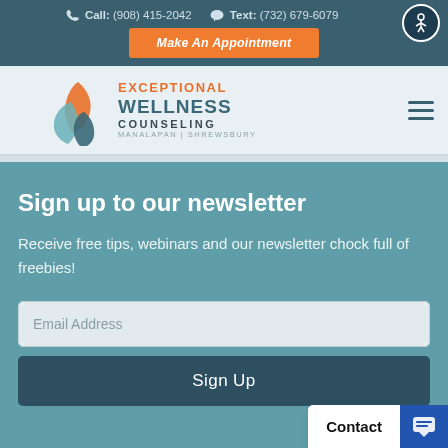Call: (908) 415-2042   Text: (732) 679-6079
Make An Appointment
[Figure (logo): Exceptional Wellness Counseling logo with orange and teal leaf icons, text reads EXCEPTIONAL WELLNESS COUNSELING MANALAPAN | SHREWSBURY]
Sign up to our newsletter
Receive free tips, webinars and our newsletter chock full of freebies!
Email Address
Sign Up
Contact